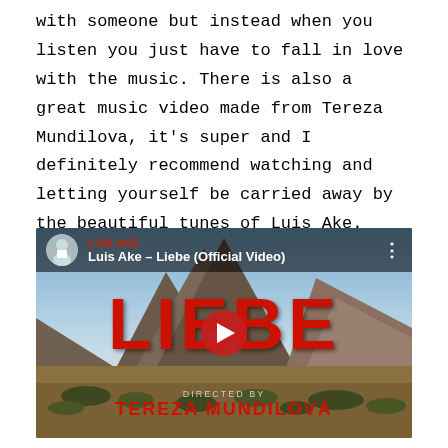with someone but instead when you listen you just have to fall in love with the music. There is also a great music video made from Tereza Mundilova, it's super and I definitely recommend watching and letting yourself be carried away by the beautiful tunes of Luis Ake.
[Figure (screenshot): YouTube video embed showing 'Luis Ake – Liebe (Official Video)' with a mountain/desert landscape background, large red LIEBE text, a red play button in the center, and 'DIRECTED BY TEREZA MUNDILOVÁ' text at the bottom.]